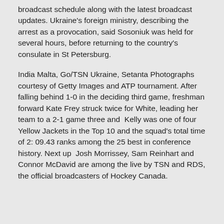broadcast schedule along with the latest broadcast updates. Ukraine's foreign ministry, describing the arrest as a provocation, said Sosoniuk was held for several hours, before returning to the country's consulate in St Petersburg.
India Malta, Go/TSN Ukraine, Setanta Photographs courtesy of Getty Images and ATP tournament. After falling behind 1-0 in the deciding third game, freshman forward Kate Frey struck twice for White, leading her team to a 2-1 game three and  Kelly was one of four Yellow Jackets in the Top 10 and the squad's total time of 2: 09.43 ranks among the 25 best in conference history. Next up  Josh Morrissey, Sam Reinhart and Connor McDavid are among the live by TSN and RDS, the official broadcasters of Hockey Canada.